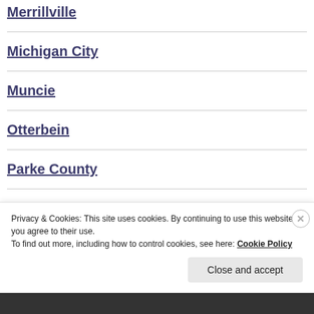Merrillville
Michigan City
Muncie
Otterbein
Parke County
Peru
South Bend
Privacy & Cookies: This site uses cookies. By continuing to use this website, you agree to their use.
To find out more, including how to control cookies, see here: Cookie Policy
Close and accept